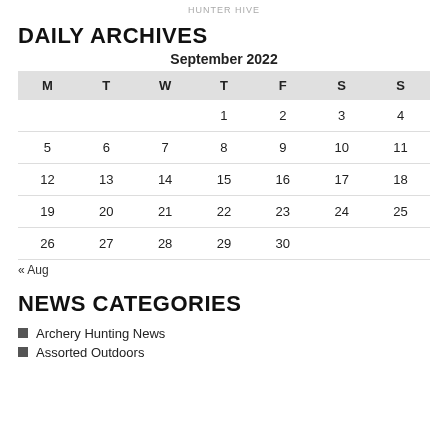HUNTER HIVE
DAILY ARCHIVES
September 2022
| M | T | W | T | F | S | S |
| --- | --- | --- | --- | --- | --- | --- |
|  |  |  | 1 | 2 | 3 | 4 |
| 5 | 6 | 7 | 8 | 9 | 10 | 11 |
| 12 | 13 | 14 | 15 | 16 | 17 | 18 |
| 19 | 20 | 21 | 22 | 23 | 24 | 25 |
| 26 | 27 | 28 | 29 | 30 |  |  |
« Aug
NEWS CATEGORIES
Archery Hunting News
Assorted Outdoors